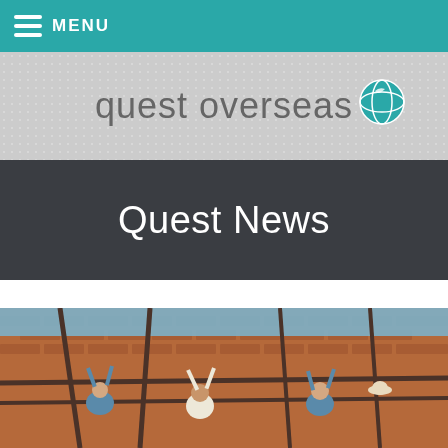MENU
[Figure (logo): Quest Overseas logo with globe icon on dotted grey background]
Quest News
[Figure (photo): People working on a construction project, lifting wooden poles against a brick wall structure under a blue sky]